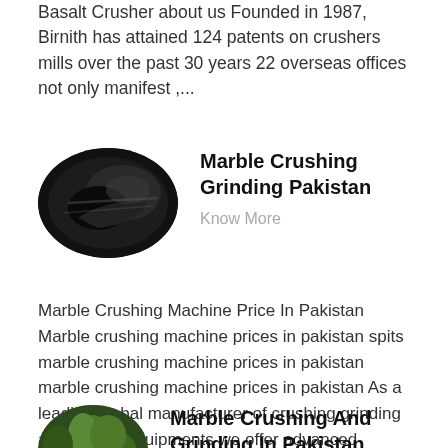Basalt Crusher about us Founded in 1987, Birnith has attained 124 patents on crushers mills over the past 30 years 22 overseas offices not only manifest ,...
[Figure (photo): Circular/oval dark image of a marble crushing machine or stone piece, dark gray/black tones]
Marble Crushing Grinding Pakistan
Know More
Marble Crushing Machine Price In Pakistan Marble crushing machine prices in pakistan spits marble crushing machine prices in pakistan marble crushing machine prices in pakistan As a leading global manufacturer of crushing grinding and mining equipments we offer advanced reasonable solutions for any size-reduction requirements including quarry aggregate ,...
[Figure (photo): Circular image of green foliage/plants, partially visible at bottom of page]
Marble Crushing And Grinding In Pakistan